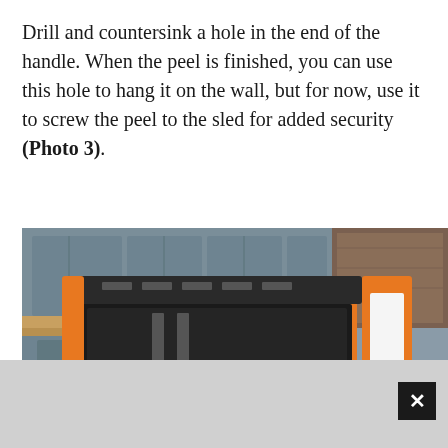Drill and countersink a hole in the end of the handle. When the peel is finished, you can use this hole to hang it on the wall, but for now, use it to screw the peel to the sled for added security (Photo 3).
[Figure (photo): Close-up photo of an orange power tool (likely a drum sander) with a black dust hose attached, positioned in a workshop with gray-blue cabinets and wooden countertop in the background.]